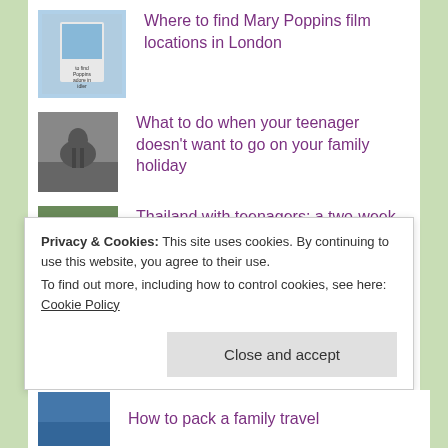Where to find Mary Poppins film locations in London
What to do when your teenager doesn't want to go on your family holiday
Thailand with teenagers: a two-week summer itinerary
Things to do in London with kids: September
Privacy & Cookies: This site uses cookies. By continuing to use this website, you agree to their use.
To find out more, including how to control cookies, see here: Cookie Policy
Close and accept
How to pack a family travel